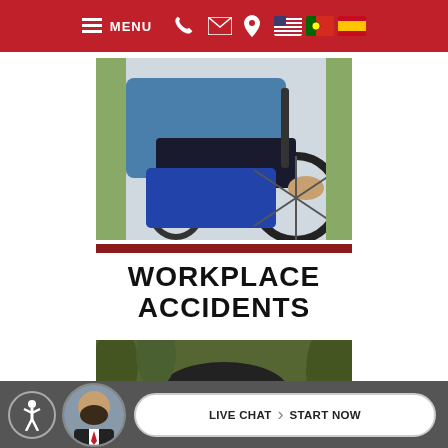[Figure (screenshot): Red navigation bar with hamburger menu, MENU text, phone icon, envelope icon, location pin icon, and three flag icons (US, Portugal, Spain)]
[Figure (photo): Close-up photo of a person in a wheelchair, showing blue shirt and hands on wheelchair wheel]
WORKPLACE ACCIDENTS
[Figure (photo): Photo of a person holding a dark umbrella at a cemetery with gravestones in the background]
[Figure (screenshot): Bottom bar with accessibility icon, lawyer avatar, and Live Chat > Start Now button]